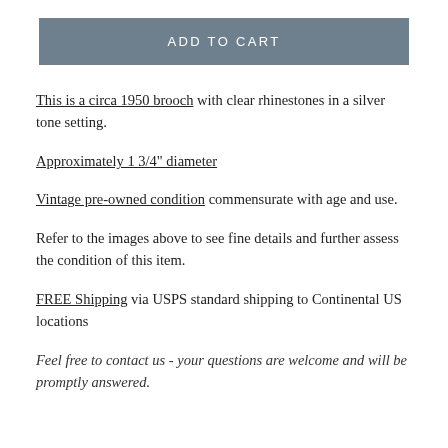ADD TO CART
This is a circa 1950 brooch with clear rhinestones in a silver tone setting.
Approximately 1 3/4" diameter
Vintage pre-owned condition commensurate with age and use.
Refer to the images above to see fine details and further assess the condition of this item.
FREE Shipping via USPS standard shipping to Continental US locations
Feel free to contact us - your questions are welcome and will be promptly answered.